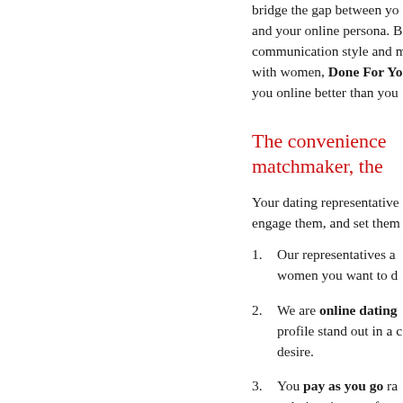bridge the gap between you and your online persona. By analyzing your communication style and mastery with women, Done For You represents you online better than you
The convenience of a matchmaker, the
Your dating representative will engage them, and set them
Our representatives a... women you want to d...
We are online dating... profile stand out in a c... desire.
You pay as you go ra... only invoice you for m... somebody special, ju...